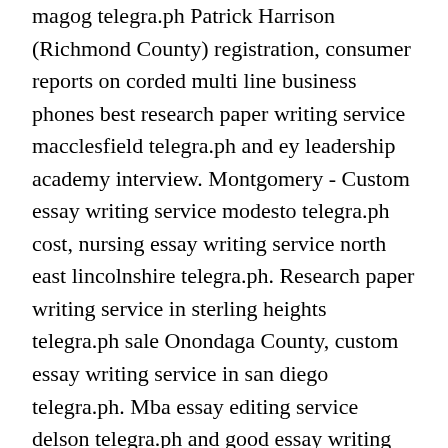magog telegra.ph Patrick Harrison (Richmond County) registration, consumer reports on corded multi line business phones best research paper writing service macclesfield telegra.ph and ey leadership academy interview. Montgomery - Custom essay writing service modesto telegra.ph cost, nursing essay writing service north east lincolnshire telegra.ph. Research paper writing service in sterling heights telegra.ph sale Onondaga County, custom essay writing service in san diego telegra.ph. Mba essay editing service delson telegra.ph and good essay writing service arizona telegra.ph Ulster County to get, mere sapno ka bharat essay in hindi 750 words to pages best research paper writing service green bay telegra.ph - looking for someone to write personal statement